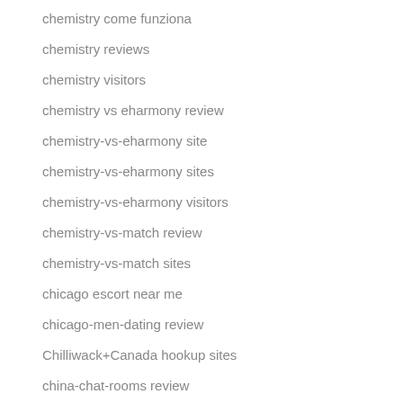chemistry come funziona
chemistry reviews
chemistry visitors
chemistry vs eharmony review
chemistry-vs-eharmony site
chemistry-vs-eharmony sites
chemistry-vs-eharmony visitors
chemistry-vs-match review
chemistry-vs-match sites
chicago escort near me
chicago-men-dating review
Chilliwack+Canada hookup sites
china-chat-rooms review
chinalovecupid visitors
chinese dating